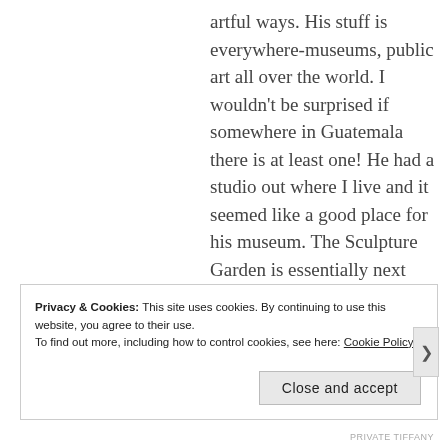artful ways. His stuff is everywhere-museums, public art all over the world. I wouldn't be surprised if somewhere in Guatemala there is at least one! He had a studio out where I live and it seemed like a good place for his museum. The Sculpture Garden is essentially next door and is a City Park with large scale modern art sculptures.
Privacy & Cookies: This site uses cookies. By continuing to use this website, you agree to their use. To find out more, including how to control cookies, see here: Cookie Policy
Close and accept